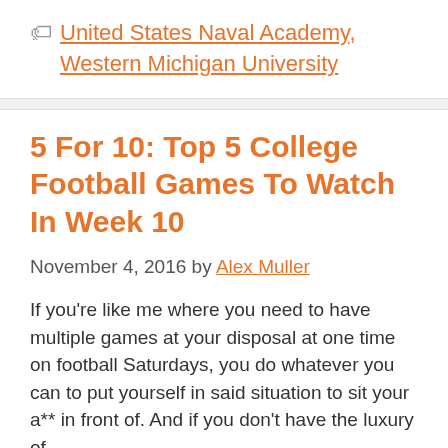United States Naval Academy, Western Michigan University
5 For 10: Top 5 College Football Games To Watch In Week 10
November 4, 2016 by Alex Muller
If you're like me where you need to have multiple games at your disposal at one time on football Saturdays, you do whatever you can to put yourself in said situation to sit your a** in front of. And if you don't have the luxury of